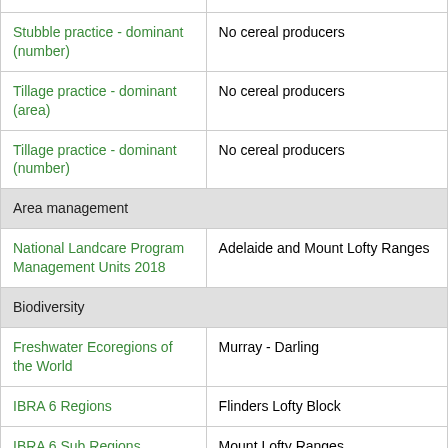| Attribute | Value |
| --- | --- |
| Stubble practice - dominant (number) | No cereal producers |
| Tillage practice - dominant (area) | No cereal producers |
| Tillage practice - dominant (number) | No cereal producers |
| Area management |  |
| National Landcare Program Management Units 2018 | Adelaide and Mount Lofty Ranges |
| Biodiversity |  |
| Freshwater Ecoregions of the World | Murray - Darling |
| IBRA 6 Regions | Flinders Lofty Block |
| IBRA 6 Sub Regions | Mount Lofty Ranges |
| IBRA 7 Regions | Flinders Lofty Block |
| IBRA 7 Subregions | Mount Lofty Ranges |